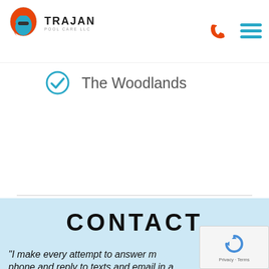[Figure (logo): Trajan Pool Care LLC logo — red and blue Spartan helmet icon with company name]
[Figure (infographic): Navigation icons: phone handset in red and hamburger menu in teal/blue]
The Woodlands
CONTACT
“I make every attempt to answer my phone and reply to texts and email in a